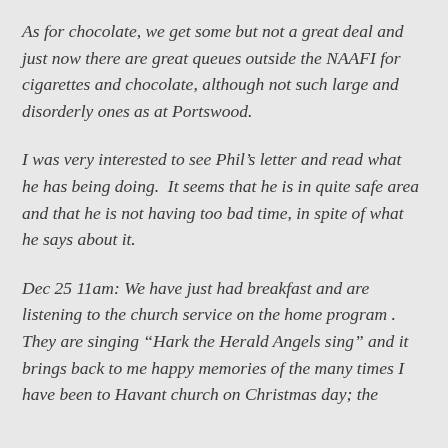As for chocolate, we get some but not a great deal and just now there are great queues outside the NAAFI for cigarettes and chocolate, although not such large and disorderly ones as at Portswood.
I was very interested to see Phil's letter and read what he has being doing.  It seems that he is in quite safe area and that he is not having too bad time, in spite of what he says about it.
Dec 25 11am: We have just had breakfast and are listening to the church service on the home program . They are singing “Hark the Herald Angels sing” and it brings back to me happy memories of the many times I have been to Havant church on Christmas day; the